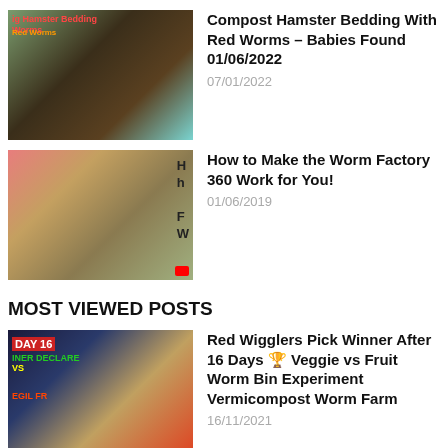[Figure (photo): Thumbnail image for compost hamster bedding with red worms video]
Compost Hamster Bedding With Red Worms – Babies Found 01/06/2022
07/01/2022
[Figure (photo): Thumbnail image for Worm Factory 360 video]
How to Make the Worm Factory 360 Work for You!
01/06/2019
MOST VIEWED POSTS
[Figure (photo): Thumbnail image for Red Wigglers Pick Winner After 16 Days video]
Red Wigglers Pick Winner After 16 Days 🏆 Veggie vs Fruit Worm Bin Experiment Vermicompost Worm Farm
16/11/2021
[Figure (photo): Thumbnail image for Rice Experiment Results Mango Seed Update video]
Rice Experiment Results Mango Seed Update + Worm Time Lapse🌿Outdoor WormBin Feeding 25 Vermicompost
21/09/2021